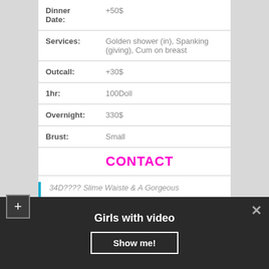| Dinner Date: | +50$ |
| Services: | Golden shower (in), Spanking (giving), Cum on breast |
| Outcall: | +30$ |
| 1hr: | 100Doll |
| Overnight: | 330$ |
| Brust: | Small |
CONTACT
34D???? Slime Waiste & A Gorgeous
Girls with video
Show me!